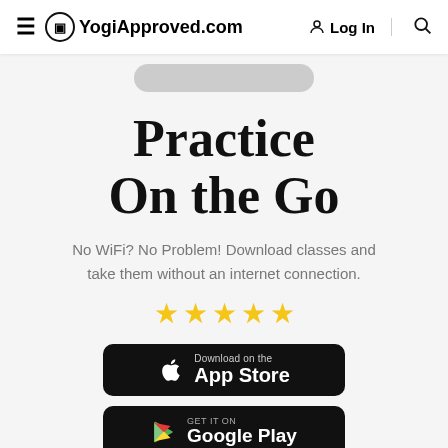≡ YogiApproved.com  Log In  🔍
[Figure (other): Partial image at top of content area (rounded dark shape, cropped)]
Practice On the Go
No WiFi? No Problem! Download classes and take them without an internet connection.
[Figure (other): Five gold star rating]
[Figure (other): Download on the App Store button (black rounded rectangle with Apple logo)]
[Figure (other): GET IT ON Google Play button (black rounded rectangle with Google Play logo)]
Also available in Apple TV, Mac and Amazon apps